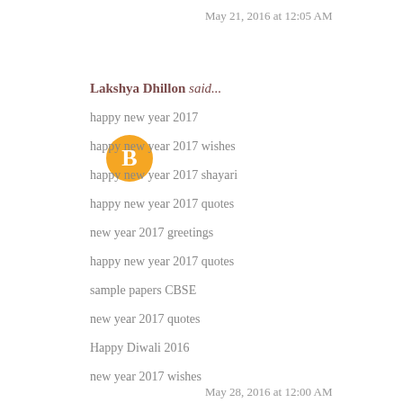May 21, 2016 at 12:05 AM
Lakshya Dhillon said...
happy new year 2017
happy new year 2017 wishes
happy new year 2017 shayari
happy new year 2017 quotes
new year 2017 greetings
happy new year 2017 quotes
sample papers CBSE
new year 2017 quotes
Happy Diwali 2016
new year 2017 wishes
May 28, 2016 at 12:00 AM